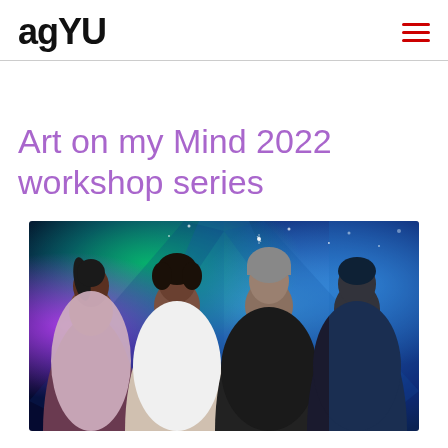agYU
Art on my Mind 2022 workshop series
[Figure (photo): Promotional photo showing four young people (three women and one man) posing against a vibrant blue and purple cosmic/galaxy background with colorful lights and sparkles. The leftmost woman wears a light top and has braided hair, the second woman wears a white outfit, the man in the center wears a dark hoodie and grey beanie, and the rightmost woman wears a dark top and is smiling with her hand on her cheek.]